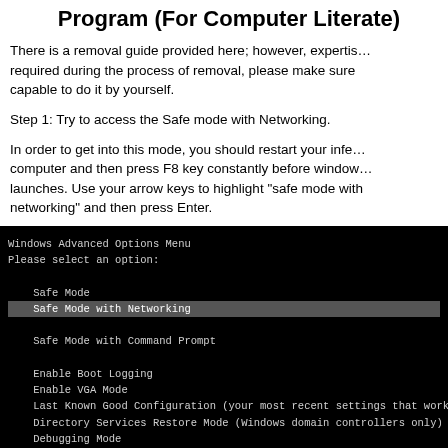Program (For Computer Literate)
There is a removal guide provided here; however, expertise is required during the process of removal, please make sure you are capable to do it by yourself.
Step 1: Try to access the Safe mode with Networking.
In order to get into this mode, you should restart your infected computer and then press F8 key constantly before windows launches. Use your arrow keys to highlight “safe mode with networking” and then press Enter.
[Figure (screenshot): Windows Advanced Options Menu screenshot showing Safe Mode with Networking highlighted, with options including Safe Mode, Safe Mode with Command Prompt, Enable Boot Logging, Enable VGA Mode, Last Known Good Configuration, Directory Services Restore Mode, Debugging Mode, Disable automatic restart on system failure]